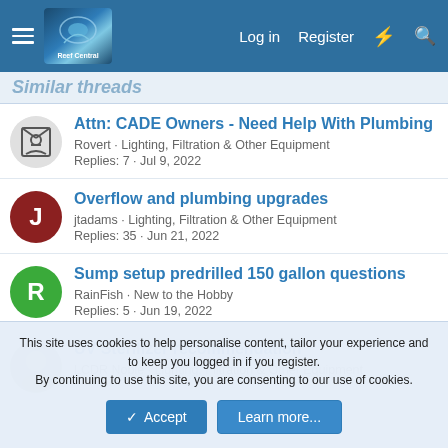Reef Central - Navigation bar with Log in, Register links
Similar threads
Attn: CADE Owners - Need Help With Plumbing | Rovert · Lighting, Filtration & Other Equipment | Replies: 7 · Jul 9, 2022
Overflow and plumbing upgrades | jtadams · Lighting, Filtration & Other Equipment | Replies: 35 · Jun 21, 2022
Sump setup predrilled 150 gallon questions | RainFish · New to the Hobby | Replies: 5 · Jun 19, 2022
UV Sterilizer recommendation | LCDR Noble · Lighting, Filtration & Other Equipment
This site uses cookies to help personalise content, tailor your experience and to keep you logged in if you register. By continuing to use this site, you are consenting to our use of cookies.